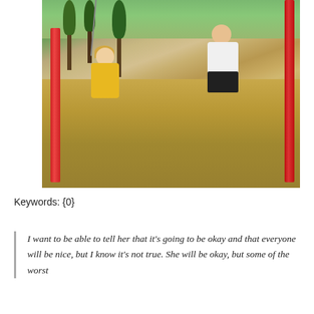[Figure (photo): Outdoor playground scene showing two people on swings. A child in a yellow shirt on the left and an adult in a white shirt and dark shorts on the right, both swinging. Red metal poles visible, sandy ground below, trees in background.]
Keywords: {0}
I want to be able to tell her that it's going to be okay and that everyone will be nice, but I know it's not true. She will be okay, but some of the worst